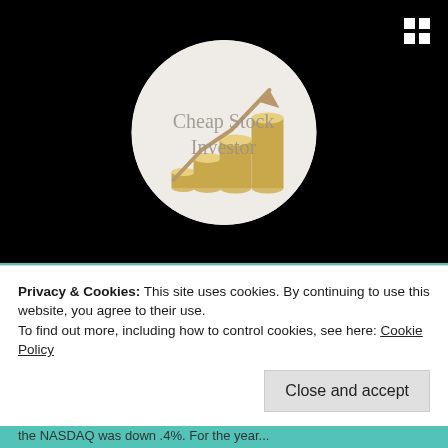[Figure (logo): Cheap Stock Investor logo — circular badge with stacked gold coins and upward trending arrow, text reads 'Cheap Stock Investor']
Cheap Stocks, 5/29/2015 Update
Privacy & Cookies: This site uses cookies. By continuing to use this website, you agree to their use.
To find out more, including how to control cookies, see here: Cookie Policy
the NASDAQ was down .4%. For the year...